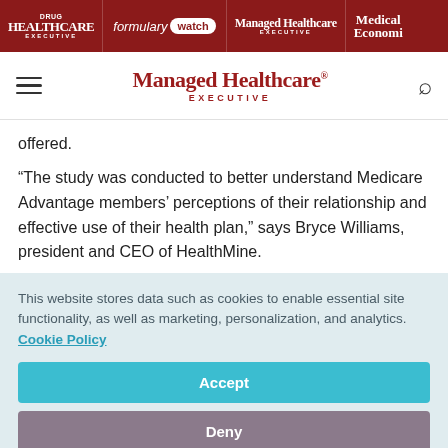Drug Healthcare Executive | formulary watch | Managed Healthcare Executive | Medical Economics
Managed Healthcare Executive
offered.
“The study was conducted to better understand Medicare Advantage members’ perceptions of their relationship and effective use of their health plan,” says Bryce Williams, president and CEO of HealthMine.
This website stores data such as cookies to enable essential site functionality, as well as marketing, personalization, and analytics. Cookie Policy
Accept
Deny